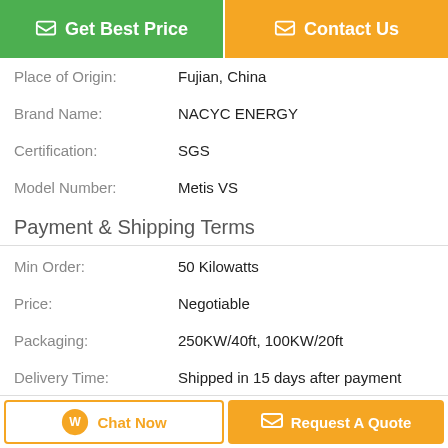[Figure (other): Two buttons: green 'Get Best Price' and orange 'Contact Us']
Place of Origin: Fujian, China
Brand Name: NACYC ENERGY
Certification: SGS
Model Number: Metis VS
Payment & Shipping Terms
Min Order: 50 Kilowatts
Price: Negotiable
Packaging: 250KW/40ft, 100KW/20ft
Delivery Time: Shipped in 15 days after payment
Payment Terms: T/T
Supply Ability: 10 Megawatts per month
Description
[Figure (other): Bottom bar with 'Chat Now' and 'Request A Quote' buttons]